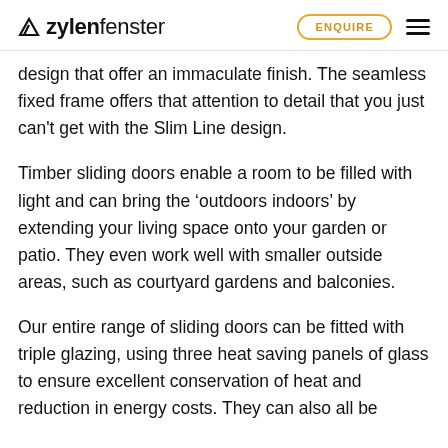zylefenster | ENQUIRE
design that offer an immaculate finish. The seamless fixed frame offers that attention to detail that you just can't get with the Slim Line design.
Timber sliding doors enable a room to be filled with light and can bring the ‘outdoors indoors’ by extending your living space onto your garden or patio. They even work well with smaller outside areas, such as courtyard gardens and balconies.
Our entire range of sliding doors can be fitted with triple glazing, using three heat saving panels of glass to ensure excellent conservation of heat and reduction in energy costs. They can also all be